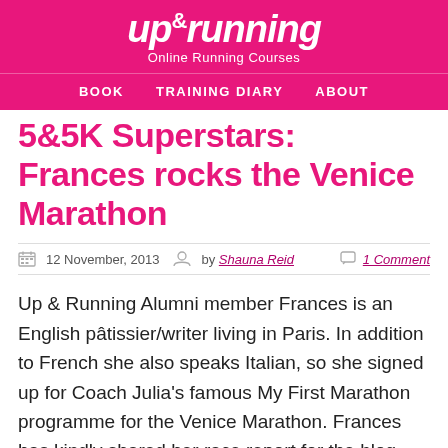UP&Running Online Running Courses
BOOK   TRAINING DIARY   ABOUT
5&5K Superstars: Frances rocks the Venice Marathon
12 November, 2013   by Shauna Reid   1 Comment
Up & Running Alumni member Frances is an English pâtissier/writer living in Paris. In addition to French she also speaks Italian, so she signed up for Coach Julia's famous My First Marathon programme for the Venice Marathon. Frances has kindly shared her race report for the blog. It's a wonderful read, so make yourself a... [Read More]